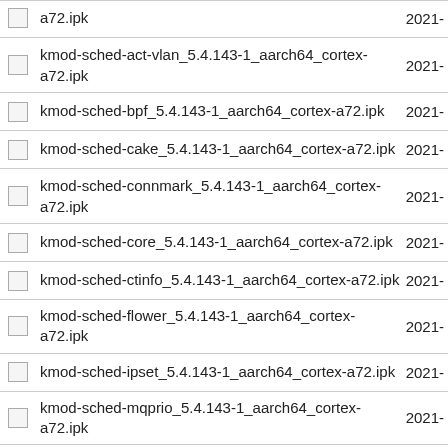a72.ipk  2021-
kmod-sched-act-vlan_5.4.143-1_aarch64_cortex-a72.ipk  2021-
kmod-sched-bpf_5.4.143-1_aarch64_cortex-a72.ipk  2021-
kmod-sched-cake_5.4.143-1_aarch64_cortex-a72.ipk  2021-
kmod-sched-connmark_5.4.143-1_aarch64_cortex-a72.ipk  2021-
kmod-sched-core_5.4.143-1_aarch64_cortex-a72.ipk  2021-
kmod-sched-ctinfo_5.4.143-1_aarch64_cortex-a72.ipk  2021-
kmod-sched-flower_5.4.143-1_aarch64_cortex-a72.ipk  2021-
kmod-sched-ipset_5.4.143-1_aarch64_cortex-a72.ipk  2021-
kmod-sched-mqprio_5.4.143-1_aarch64_cortex-a72.ipk  2021-
kmod-sched-...  5.4.143-1_aarch64_cortex-a72.ipk  2021-